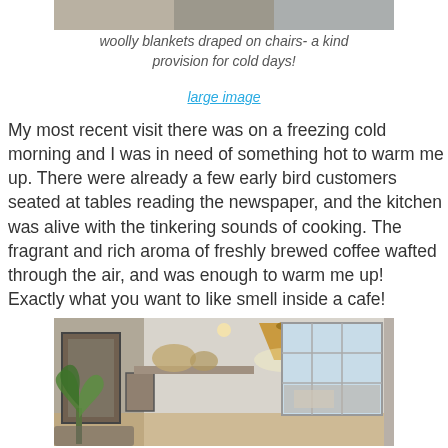[Figure (photo): Top portion of a photo showing woolly blankets draped on chairs at a cafe, partially cropped]
woolly blankets draped on chairs- a kind provision for cold days!
large image
My most recent visit there was on a freezing cold morning and I was in need of something hot to warm me up. There were already a few early bird customers seated at tables reading the newspaper, and the kitchen was alive with the tinkering sounds of cooking. The fragrant and rich aroma of freshly brewed coffee wafted through the air, and was enough to warm me up! Exactly what you want to like smell inside a cafe!
[Figure (photo): Interior of a cafe showing a wicker pendant lamp, large window with grid panes looking out to a street, wall art/framing on the left, a plant in the foreground, shelving with hats/baskets above]